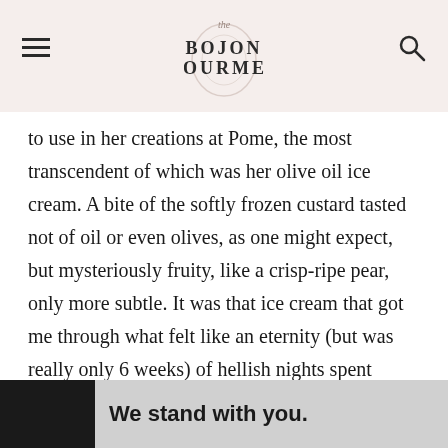the BOJON GOURMET
to use in her creations at Pome, the most transcendent of which was her olive oil ice cream. A bite of the softly frozen custard tasted not of oil or even olives, as one might expect, but mysteriously fruity, like a crisp-ripe pear, only more subtle. It was that ice cream that got me through what felt like an eternity (but was really only 6 weeks) of hellish nights spent frantically plating desserts, being vibed by st... er my et... om our
[Figure (screenshot): Advertisement banner reading 'We stand with you.' with dark left panel, gray center, purple right panel with close button, and logo on far right]